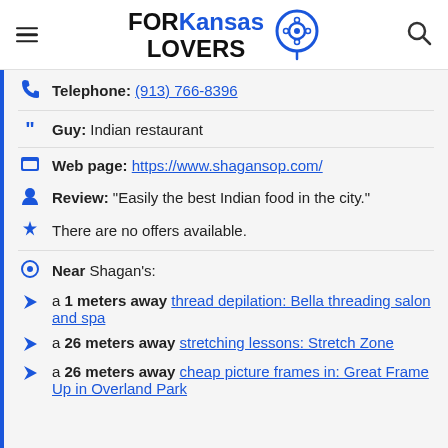FORKansas LOVERS
Telephone: (913) 766-8396
Guy: Indian restaurant
Web page: https://www.shagansop.com/
Review: "Easily the best Indian food in the city."
There are no offers available.
Near Shagan's:
a 1 meters away thread depilation: Bella threading salon and spa
a 26 meters away stretching lessons: Stretch Zone
a 26 meters away cheap picture frames in: Great Frame Up in Overland Park